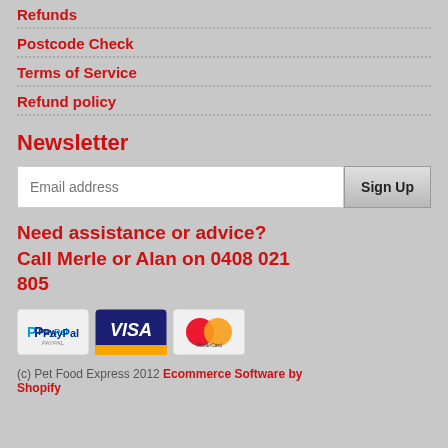Refunds
Postcode Check
Terms of Service
Refund policy
Newsletter
Email address | Sign Up
Need assistance or advice? Call Merle or Alan on 0408 021 805
[Figure (logo): PayPal, Visa, and MasterCard payment logos]
(c) Pet Food Express 2012 Ecommerce Software by Shopify